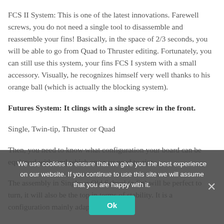FCS II System: This is one of the latest innovations. Farewell screws, you do not need a single tool to disassemble and reassemble your fins! Basically, in the space of 2/3 seconds, you will be able to go from Quad to Thruster editing. Fortunately, you can still use this system, your fins FCS I system with a small accessory. Visually, he recognizes himself very well thanks to his orange ball (which is actually the blocking system).
Futures System: It clings with a single screw in the front.
Single, Twin-tip, Thruster or Quad
Then, you need to know what configuration your board can be equipped with, and which one you need to aim.
The assembly in Single or Old School (a fin) will be perfect to turn, it will also be the top in terms of stability. It is a configuration mainly adapted to
We use cookies to ensure that we give you the best experience on our website. If you continue to use this site we will assume that you are happy with it.